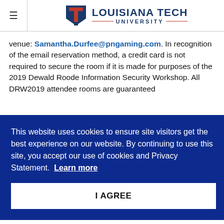Louisiana Tech University
venue: Samantha.Durfee@pngaming.com. In recognition of the email reservation method, a credit card is not required to secure the room if it is made for purposes of the 2019 Dewald Roode Information Security Workshop. All DRW2019 attendee rooms are guaranteed
This website uses cookies to ensure site visitors get the best experience on our website. By continuing to use this site, you accept our use of cookies and Privacy Statement. Learn more
I AGREE
Jae-Ung “Jake” Lee